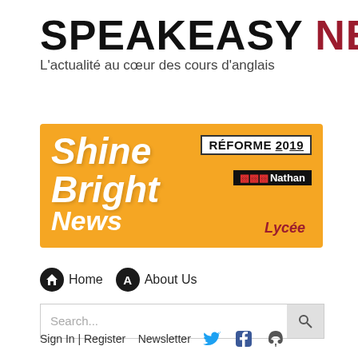SPEAKEASY NEWS
L'actualité au cœur des cours d'anglais
[Figure (logo): Shine Bright News banner with orange background, RÉFORME 2019 badge, Nathan publisher logo, and Lycée label]
Home
About Us
Search...
Sign In | Register   Newsletter